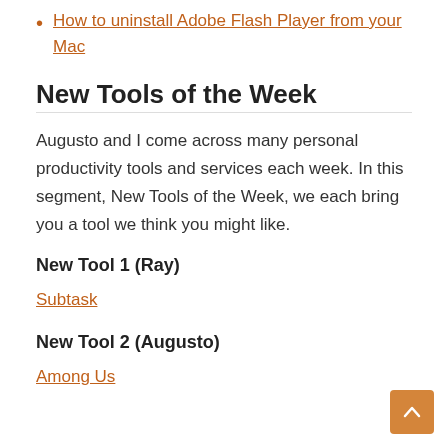How to uninstall Adobe Flash Player from your Mac
New Tools of the Week
Augusto and I come across many personal productivity tools and services each week. In this segment, New Tools of the Week, we each bring you a tool we think you might like.
New Tool 1 (Ray)
Subtask
New Tool 2 (Augusto)
Among Us